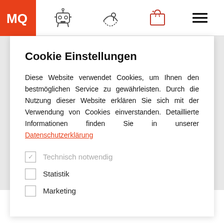[Figure (screenshot): Navigation bar with MQ logo (orange circle), robot icon, location icon, shopping bag icon, and hamburger menu]
Cookie Einstellungen
Diese Website verwendet Cookies, um Ihnen den bestmöglichen Service zu gewährleisten. Durch die Nutzung dieser Website erklären Sie sich mit der Verwendung von Cookies einverstanden. Detaillierte Informationen finden Sie in unserer Datenschutzerklärung
Technisch notwendig
Statistik
Marketing
[Figure (other): Partial large bold text showing '12021' at the bottom of the page]